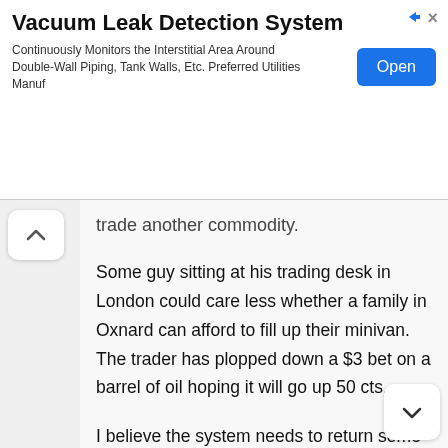[Figure (screenshot): Advertisement banner for Vacuum Leak Detection System with an Open button]
trade another commodity.
Some guy sitting at his trading desk in London could care less whether a family in Oxnard can afford to fill up their minivan. The trader has plopped down a $3 bet on a barrel of oil hoping it will go up 50 cts.
I believe the system needs to return some balance between the hedgers and the speculators by limiting the number of contracts. I am not opposed to the speculators, I just don't believe it is good to